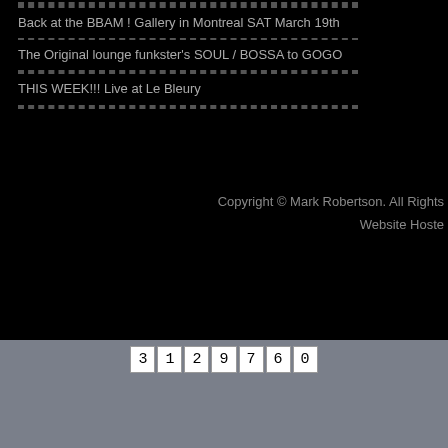Back at the BBAM ! Gallery in Montreal SAT March 19th
The Original lounge funkster's SOUL / BOSSA to GOGO
THIS WEEK!!! Live at Le Bleury
Copyright © Mark Robertson. All Rights
Website Hoste
3 1 2 9 7 6 0